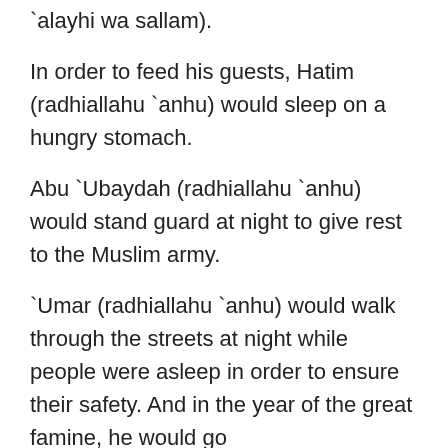`alayhi wa sallam).
In order to feed his guests, Hatim (radhiallahu `anhu) would sleep on a hungry stomach.
Abu `Ubaydah (radhiallahu `anhu) would stand guard at night to give rest to the Muslim army.
`Umar (radhiallahu `anhu) would walk through the streets at night while people were asleep in order to ensure their safety. And in the year of the great famine, he would go